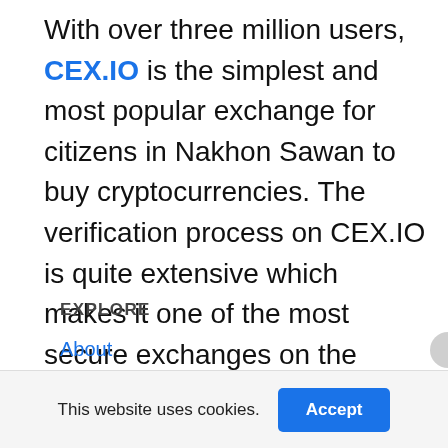With over three million users, CEX.IO is the simplest and most popular exchange for citizens in Nakhon Sawan to buy cryptocurrencies. The verification process on CEX.IO is quite extensive which makes it one of the most secure exchanges on the planet. VISA and Mastercard deposits incur a 2.99% fee, while SWIFT bank deposits are free and withdrawals incur a 0.3% + $25 fee.
EXPLORE
About
Contact
This website uses cookies.